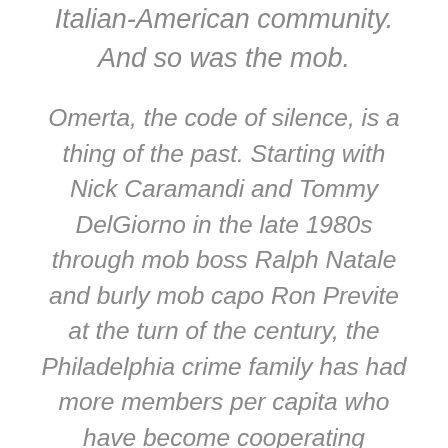Italian-American community. And so was the mob.
Omerta, the code of silence, is a thing of the past. Starting with Nick Caramandi and Tommy DelGiorno in the late 1980s through mob boss Ralph Natale and burly mob capo Ron Previte at the turn of the century, the Philadelphia crime family has had more members per capita who have become cooperating witnesses than any other Cosa Nostra family in America.
Add to the mix sophisticated